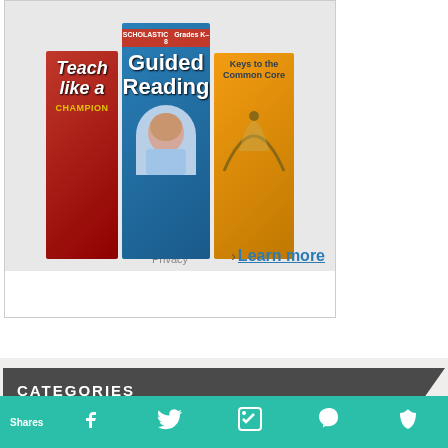[Figure (illustration): Advertisement showing three education books: Teach Like a Champion, Guided Reading, and Keys to the Common Core, with a Learn more link and Privacy text]
Up to 40% off select children's books
CATEGORIES
21st century skills  art  Babies  books  centers  character education  classroom management  Classroom Themes  Content  critical thinking  economics  english
Shares [Pinterest] [Facebook] [Twitter] [Email] [Crown]